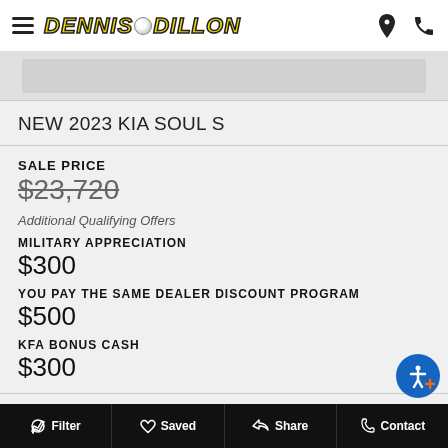Dennis Dillon (logo)
[Figure (photo): Car image placeholder area]
NEW 2023 KIA SOUL S
SALE PRICE
$23,720 (strikethrough)
Additional Qualifying Offers
MILITARY APPRECIATION
$300
YOU PAY THE SAME DEALER DISCOUNT PROGRAM
$500
KFA BONUS CASH
$300
Vehicle Name: Kia Soul,Body Style: Hatchback,Drivetrain:
Filter  Saved  Share  Contact